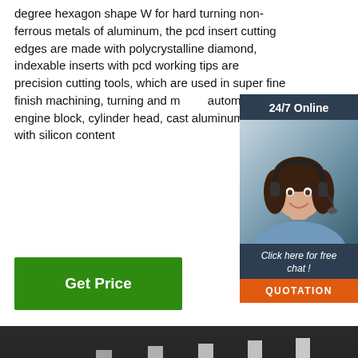degree hexagon shape W for hard turning non-ferrous metals of aluminum, the pcd insert cutting edges are made with polycrystalline diamond, indexable inserts with pcd working tips are precision cutting tools, which are used in super fine finish machining, turning and milling automobile engine block, cylinder head, cast aluminum alloy with silicon content
[Figure (photo): Customer service agent woman with headset, 24/7 Online chat box with dark navy background, orange QUOTATION button]
[Figure (photo): Get Price green button]
[Figure (photo): Metal angle iron/steel L-shaped pieces standing upright in a row on dark background, with orange TOP badge in bottom right corner]